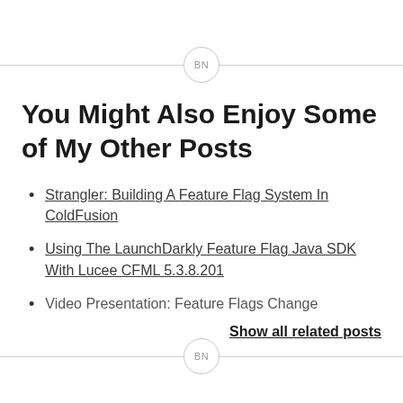BN
You Might Also Enjoy Some of My Other Posts
Strangler: Building A Feature Flag System In ColdFusion
Using The LaunchDarkly Feature Flag Java SDK With Lucee CFML 5.3.8.201
Video Presentation: Feature Flags Change
Show all related posts
BN